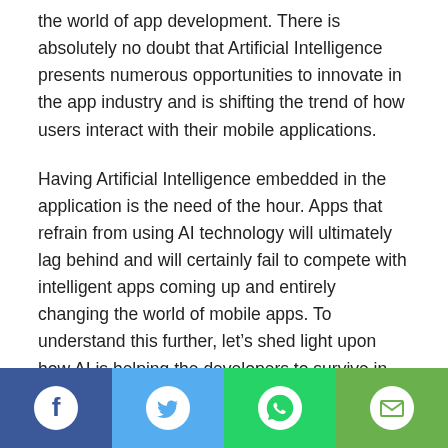the world of app development. There is absolutely no doubt that Artificial Intelligence presents numerous opportunities to innovate in the app industry and is shifting the trend of how users interact with their mobile applications.
Having Artificial Intelligence embedded in the application is the need of the hour. Apps that refrain from using AI technology will ultimately lag behind and will certainly fail to compete with intelligent apps coming up and entirely changing the world of mobile apps. To understand this further, let’s shed light upon how AI is helping the developers to survive in the cut-throat competition by boosting the user’s experience:
[Figure (infographic): Social share bar with four buttons: Facebook (dark blue), Twitter (light blue), WhatsApp (green), Email (light green)]